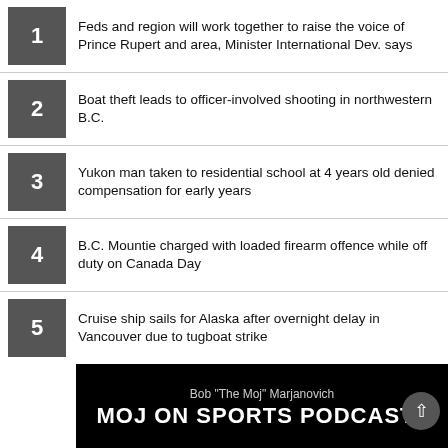1 Feds and region will work together to raise the voice of Prince Rupert and area, Minister International Dev. says
2 Boat theft leads to officer-involved shooting in northwestern B.C.
3 Yukon man taken to residential school at 4 years old denied compensation for early years
4 B.C. Mountie charged with loaded firearm offence while off duty on Canada Day
5 Cruise ship sails for Alaska after overnight delay in Vancouver due to tugboat strike
[Figure (other): MOJ ON SPORTS PODCAST banner with Bob 'The Moj' Marjanovich]
[Figure (other): Kitselas advertisement: Questions about the Treaty? We'll come to you! Kitselas Members: book a home visit with the Treaty Engagement Team! MORE INFO »]